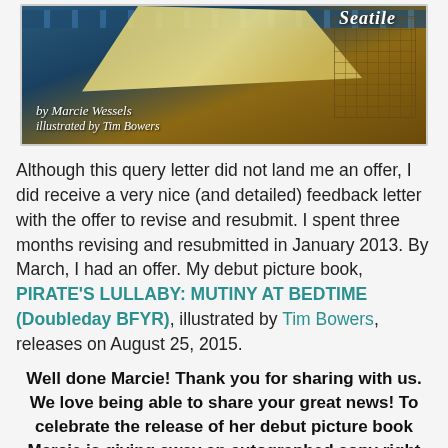[Figure (illustration): Book cover illustration showing a sailing ship scene with sails and rigging, blue and gold tones. Text reads 'by Marcie Wessels illustrated by Tim Bowers' with partial title visible at top right 'Seatile' (partially cropped).]
Although this query letter did not land me an offer, I did receive a very nice (and detailed) feedback letter with the offer to revise and resubmit. I spent three months revising and resubmitted in January 2013. By March, I had an offer. My debut picture book, PIRATE'S LULLABY: MUTINY AT BEDTIME (Doubleday BFYR), illustrated by Tim Bowers, releases on August 25, 2015.
Well done Marcie! Thank you for sharing with us. We love being able to share your great news! To celebrate the release of her debut picture book Marcie is giving away an autographed copy right